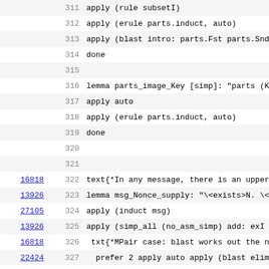| link | lineno | code |
| --- | --- | --- |
|  | 311 | apply (rule subsetI) |
|  | 312 | apply (erule parts.induct, auto) |
|  | 313 | apply (blast intro: parts.Fst parts.Snd)+ |
|  | 314 | done |
|  | 315 |  |
|  | 316 | lemma parts_image_Key [simp]: "parts (Key`N) |
|  | 317 | apply auto |
|  | 318 | apply (erule parts.induct, auto) |
|  | 319 | done |
|  | 320 |  |
|  | 321 |  |
| 16818 | 322 | text{*In any message, there is an upper bou |
| 13926 | 323 | lemma msg_Nonce_supply: "\<exists>N. \<foral |
| 27105 | 324 | apply (induct msg) |
| 13926 | 325 | apply (simp_all (no_asm_simp) add: exI parts |
| 16818 | 326 |  txt{*MPair case: blast works out the necess |
| 22424 | 327 |   prefer 2 apply auto apply (blast elim!: add |
| 16818 | 328 | txt{*Nonce case*} |
|  | 329 | apply (rule_tac x = "N + Suc nat" in exI, au |
| 13926 | 330 | done |
|  | 331 |  |
|  | 332 |  |